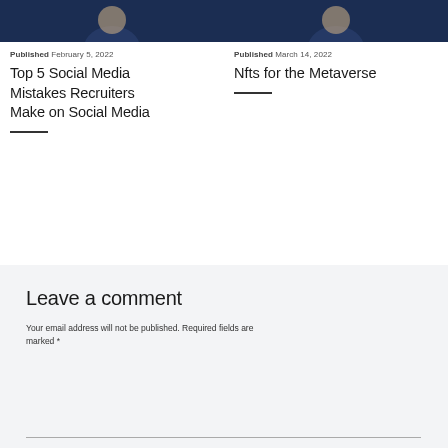[Figure (photo): Dark navy blue image, partial crop of a person, left card]
Published February 5, 2022
Top 5 Social Media Mistakes Recruiters Make on Social Media
[Figure (photo): Dark navy blue image, partial crop of a person, right card]
Published March 14, 2022
Nfts for the Metaverse
Leave a comment
Your email address will not be published. Required fields are marked *